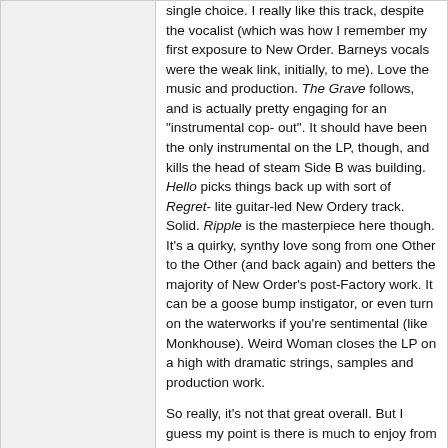single choice. I really like this track, despite the vocalist (which was how I remember my first exposure to New Order. Barneys vocals were the weak link, initially, to me). Love the music and production. The Grave follows, and is actually pretty engaging for an "instrumental cop-out". It should have been the only instrumental on the LP, though, and kills the head of steam Side B was building. Hello picks things back up with sort of Regret-lite guitar-led New Ordery track. Solid. Ripple is the masterpiece here though. It's a quirky, synthy love song from one Other to the Other (and back again) and betters the majority of New Order's post-Factory work. It can be a goose bump instigator, or even turn on the waterworks if you're sentimental (like Monkhouse). Weird Woman closes the LP on a high with dramatic strings, samples and production work.

So really, it's not that great overall. But I guess my point is there is much to enjoy from The Other Two's catalog and they should not be dismissed on the basis of their patchy debut.

(But another good, new New Order LP is really what we want, right?)
❤ 1 user thanked Andy for this useful post.
ROCKET MICK on 14/11/2019(UTC)